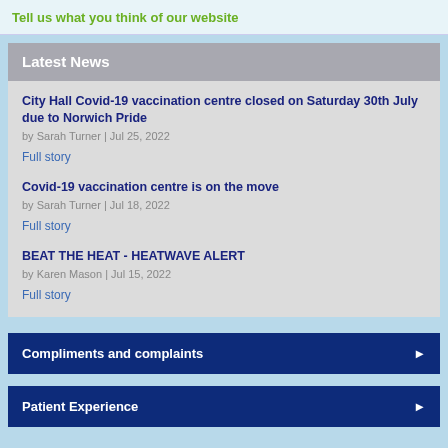Tell us what you think of our website
Latest News
City Hall Covid-19 vaccination centre closed on Saturday 30th July due to Norwich Pride
by Sarah Turner | Jul 25, 2022
Full story
Covid-19 vaccination centre is on the move
by Sarah Turner | Jul 18, 2022
Full story
BEAT THE HEAT - HEATWAVE ALERT
by Karen Mason | Jul 15, 2022
Full story
Compliments and complaints
Patient Experience